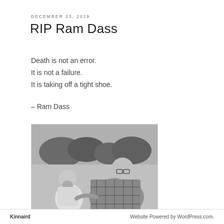DECEMBER 23, 2019
RIP Ram Dass
Death is not an error.
It is not a failure.
It is taking off a tight shoe.
– Ram Dass
[Figure (photo): Black and white photograph of two men outdoors, one with a beard and one wrapped in a plaid blanket, appearing to be Ram Dass and another person.]
Kinnaird    Website Powered by WordPress.com.